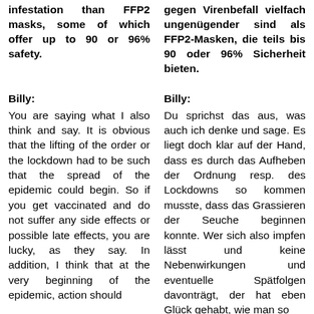infestation than FFP2 masks, some of which offer up to 90 or 96% safety.
gegen Virenbefall vielfach ungenügender sind als FFP2-Masken, die teils bis 90 oder 96% Sicherheit bieten.
Billy:
Billy:
You are saying what I also think and say. It is obvious that the lifting of the order or the lockdown had to be such that the spread of the epidemic could begin. So if you get vaccinated and do not suffer any side effects or possible late effects, you are lucky, as they say. In addition, I think that at the very beginning of the epidemic, action should
Du sprichst das aus, was auch ich denke und sage. Es liegt doch klar auf der Hand, dass es durch das Aufheben der Ordnung resp. des Lockdowns so kommen musste, dass das Grassieren der Seuche beginnen konnte. Wer sich also impfen lässt und keine Nebenwirkungen und eventuelle Spätfolgen davonträgt, der hat eben Glück gehabt, wie man so